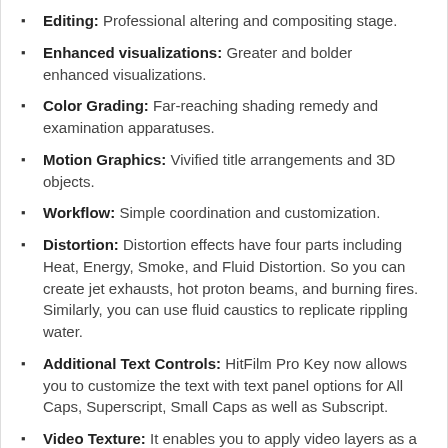Editing: Professional altering and compositing stage.
Enhanced visualizations: Greater and bolder enhanced visualizations.
Color Grading: Far-reaching shading remedy and examination apparatuses.
Motion Graphics: Vivified title arrangements and 3D objects.
Workflow: Simple coordination and customization.
Distortion: Distortion effects have four parts including Heat, Energy, Smoke, and Fluid Distortion. So you can create jet exhausts, hot proton beams, and burning fires. Similarly, you can use fluid caustics to replicate rippling water.
Additional Text Controls: HitFilm Pro Key now allows you to customize the text with text panel options for All Caps, Superscript, Small Caps as well as Subscript.
Video Texture: It enables you to apply video layers as a texture on a 3D model into the footage. You can also